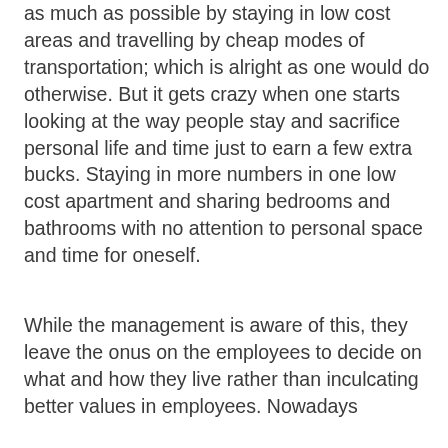as much as possible by staying in low cost areas and travelling by cheap modes of transportation; which is alright as one would do otherwise. But it gets crazy when one starts looking at the way people stay and sacrifice personal life and time just to earn a few extra bucks. Staying in more numbers in one low cost apartment and sharing bedrooms and bathrooms with no attention to personal space and time for oneself.
While the management is aware of this, they leave the onus on the employees to decide on what and how they live rather than inculcating better values in employees. Nowadays